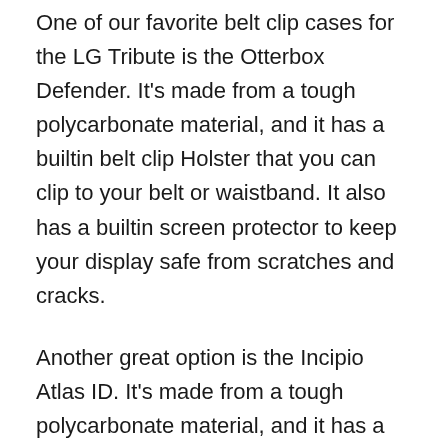One of our favorite belt clip cases for the LG Tribute is the Otterbox Defender. It's made from a tough polycarbonate material, and it has a builtin belt clip Holster that you can clip to your belt or waistband. It also has a builtin screen protector to keep your display safe from scratches and cracks.
Another great option is the Incipio Atlas ID. It's made from a tough polycarbonate material, and it has a builtin belt clip Holster that you can clip to your belt or waistband. It also has a raised bezel around the screen and camera to protect them from scratches and scuffs.